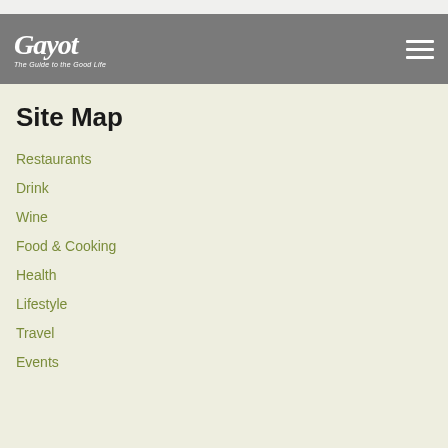Gayot — The Guide to the Good Life
Site Map
Restaurants
Drink
Wine
Food & Cooking
Health
Lifestyle
Travel
Events